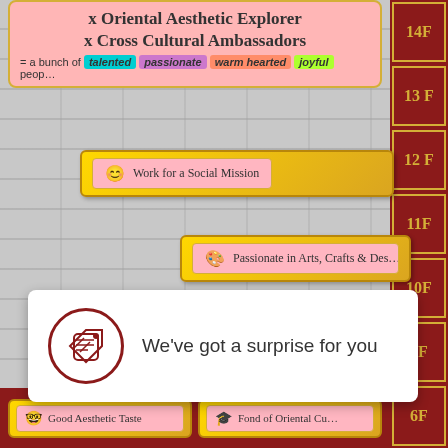x Oriental Aesthetic Explorer x Cross Cultural Ambassadors
= a bunch of talented passionate warm hearted joyful people
Work for a Social Mission
Passionate in Arts, Crafts & Design
Enjoy Serving People
Young and Energetic
We've got a surprise for you
Good Aesthetic Taste
Fond of Oriental Culture
14F
13F
12F
11F
10F
9F
6F